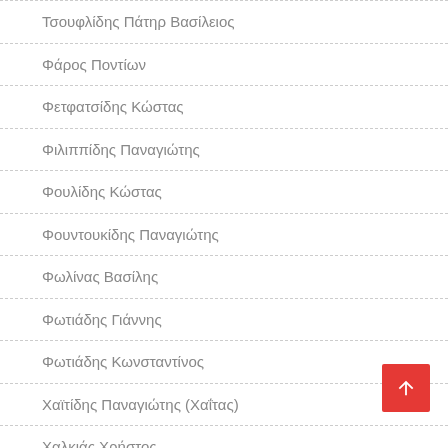Τσουφλίδης Πάτηρ Βασίλειος
Φάρος Ποντίων
Φετφατσίδης Κώστας
Φιλιππίδης Παναγιώτης
Φουλίδης Κώστας
Φουντουκίδης Παναγιώτης
Φωλίνας Βασίλης
Φωτιάδης Γιάννης
Φωτιάδης Κωνσταντίνος
Χαϊτίδης Παναγιώτης (Χαΐτας)
Χαλκιάς Χρήστος
Χαλκίδης Ιωάννης
Χαλκίδης Σάββας